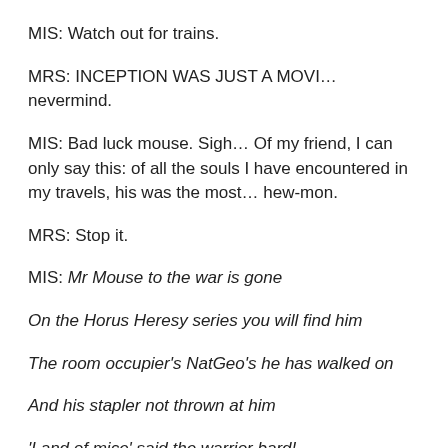MIS: Watch out for trains.
MRS: INCEPTION WAS JUST A MOVI…nevermind.
MIS: Bad luck mouse. Sigh… Of my friend, I can only say this: of all the souls I have encountered in my travels, his was the most… hew-mon.
MRS: Stop it.
MIS: Mr Mouse to the war is gone
On the Horus Heresy series you will find him
The room occupier's NatGeo's he has walked on
And his stapler not thrown at him
'Land of mice' said the warrior bard!